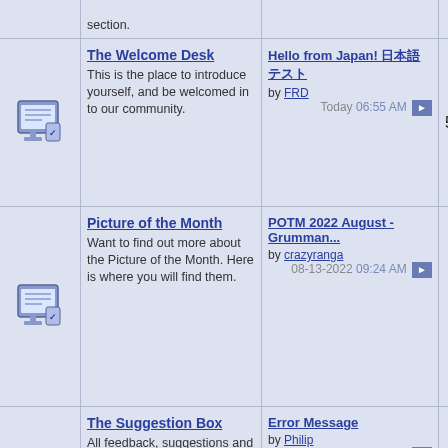| Icon | Forum | Last Post | Posts |
| --- | --- | --- | --- |
| [icon] | The Welcome Desk
This is the place to introduce yourself, and be welcomed in to our community. | Hello from Japan! 日本語
by FRD
Today 06:55 AM | 5,113 |
| [icon] | Picture of the Month
Want to find out more about the Picture of the Month. Here is where you will find them. | POTM 2022 August - Grumman...
by crazyranga
08-13-2022 09:24 AM | 411 |
| [icon] | The Suggestion Box
All feedback, suggestions and questions regarding our forum can be posted here. If you would rather not post it, you can also send us an email using the "Contact Us" link at the bottom of the page. | Error Message
by Philip
Yesterday 02:25 PM | 238 |
| [icon] | HOWTO: Use the forums
Have a question on how to use the forum? | how to find and view messages...
by Szkielzu
Yesterday 10:54 AM | 254 |